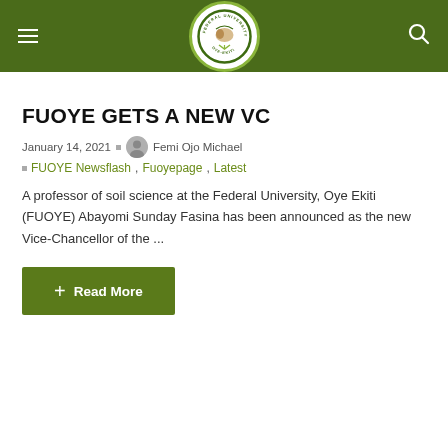Federal University Oye-Ekiti (FUOYE) website header with logo
FUOYE GETS A NEW VC
January 14, 2021  Femi Ojo Michael
FUOYE Newsflash, Fuoyepage, Latest
A professor of soil science at the Federal University, Oye Ekiti (FUOYE) Abayomi Sunday Fasina has been announced as the new Vice-Chancellor of the ...
+ Read More